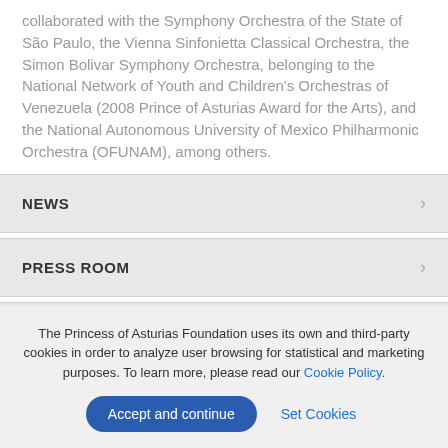collaborated with the Symphony Orchestra of the State of São Paulo, the Vienna Sinfonietta Classical Orchestra, the Simon Bolivar Symphony Orchestra, belonging to the National Network of Youth and Children's Orchestras of Venezuela (2008 Prince of Asturias Award for the Arts), and the National Autonomous University of Mexico Philharmonic Orchestra (OFUNAM), among others.
NEWS
PRESS ROOM
MULTIMEDIA CHANNEL
The Princess of Asturias Foundation uses its own and third-party cookies in order to analyze user browsing for statistical and marketing purposes. To learn more, please read our Cookie Policy.
Accept and continue   Set Cookies